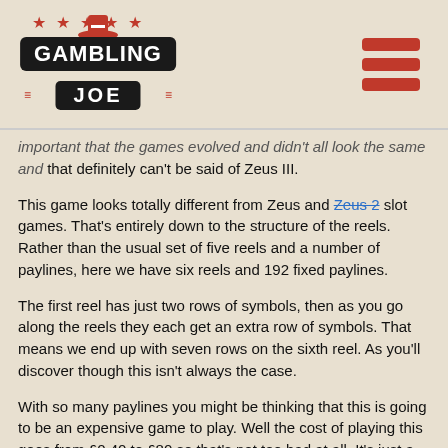GAMBLING JOE
important that the games evolved and didn't all look the same and that definitely can't be said of Zeus III.
This game looks totally different from Zeus and Zeus 2 slot games. That's entirely down to the structure of the reels. Rather than the usual set of five reels and a number of paylines, here we have six reels and 192 fixed paylines.
The first reel has just two rows of symbols, then as you go along the reels they each get an extra row of symbols. That means we end up with seven rows on the sixth reel. As you'll discover though this isn't always the case.
With so many paylines you might be thinking that this is going to be an expensive game to play. Well the cost of playing this goes from £0.40 to £80 so that's not too bad at all. It's just a question of working out a financial budget, sticking to it and enjoying the game.